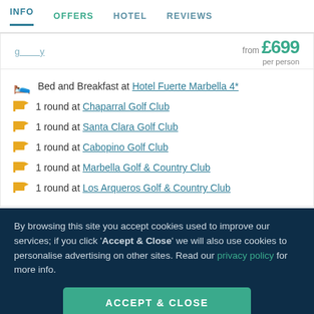INFO | OFFERS | HOTEL | REVIEWS
from £699 per person
Bed and Breakfast at Hotel Fuerte Marbella 4*
1 round at Chaparral Golf Club
1 round at Santa Clara Golf Club
1 round at Cabopino Golf Club
1 round at Marbella Golf & Country Club
1 round at Los Arqueros Golf & Country Club
By browsing this site you accept cookies used to improve our services; if you click 'Accept & Close' we will also use cookies to personalise advertising on other sites. Read our privacy policy for more info.
ACCEPT & CLOSE
Reject personalised marketing